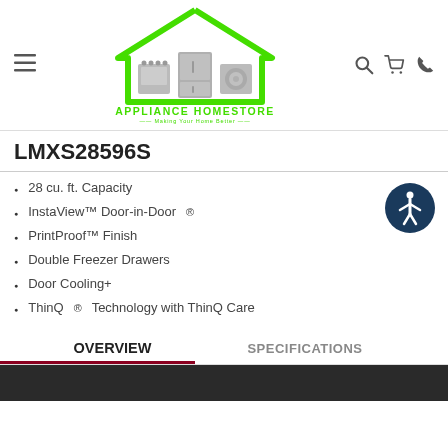[Figure (logo): Appliance HomeStore logo: green house outline with appliances inside, green text APPLIANCE HOMESTORE, tagline Making Your Home Better]
LMXS28596S
28 cu. ft. Capacity
InstaView™ Door-in-Door®
PrintProof™ Finish
Double Freezer Drawers
Door Cooling+
ThinQ® Technology with ThinQ Care
OVERVIEW
SPECIFICATIONS